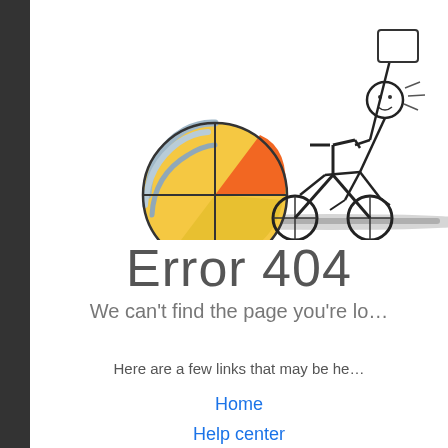[Figure (illustration): A cartoon-style illustration of a stick figure on a bicycle next to a globe/sphere with colorful swirling patterns (yellow, orange, blue, grey). The scene has a sketchy hand-drawn look with a dark ground line beneath.]
Error 404
We can't find the page you're lo…
Here are a few links that may be he…
Home
Help center